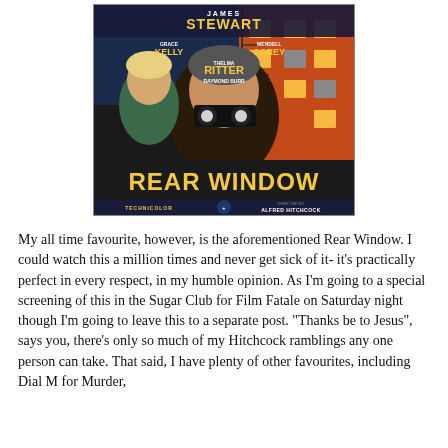[Figure (illustration): Movie poster for Rear Window directed by Alfred Hitchcock, featuring James Stewart, Grace Kelly, Wendell Corey, Thelma Ritter, Raymond Burr. Shows a man with binoculars and a woman behind him, with apartment buildings in the background. Yellow text reads REAR WINDOW. Bottom reads TECHNICOLOR, Paramount logo, DIRECTED BY ALFRED HITCHCOCK.]
My all time favourite, however, is the aforementioned Rear Window. I could watch this a million times and never get sick of it- it's practically perfect in every respect, in my humble opinion. As I'm going to a special screening of this in the Sugar Club for Film Fatale on Saturday night though I'm going to leave this to a separate post. "Thanks be to Jesus", says you, there's only so much of my Hitchcock ramblings any one person can take. That said, I have plenty of other favourites, including Dial M for Murder,